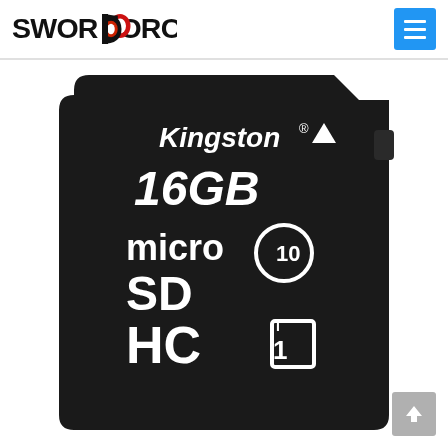SWORDFORCE
[Figure (photo): Kingston 16GB microSDHC Class 10 UHS-I memory card on a white background. Black card with white text showing Kingston brand name with registered trademark, 16GB capacity, microSD HC logo, Class 10 and UHS-I (U1) speed ratings.]